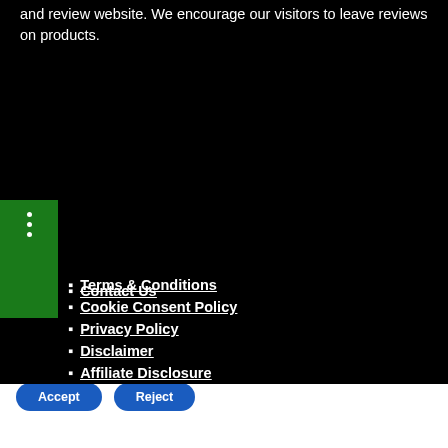and review website. We encourage our visitors to leave reviews on products.
Contact Us
Terms & Conditions
Cookie Consent Policy
Privacy Policy
Disclaimer
Affiliate Disclosure
We are using cookies to give you the best experience on our website.
You can find out more about which cookies we are using or switch them off in settings.
Accept  Reject